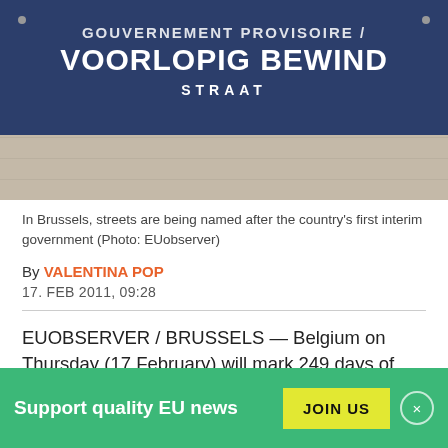[Figure (photo): A blue street sign in Brussels reading 'VOORLOPIG BEWIND STRAAT' (Provisional Government Street) mounted on a stone wall]
In Brussels, streets are being named after the country's first interim government (Photo: EUobserver)
By VALENTINA POP
17. FEB 2011, 09:28
EUOBSERVER / BRUSSELS — Belgium on Thursday (17 February) will mark 249 days of political deadlock, the
Support quality EU news